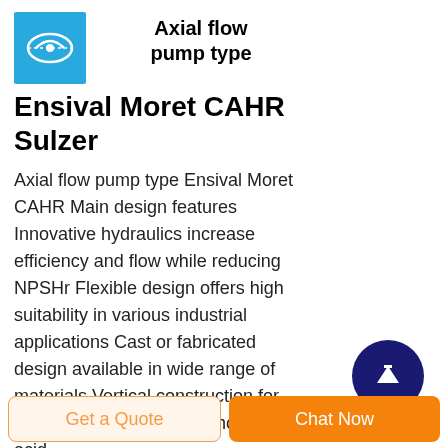[Figure (logo): Company logo on blue background showing a stylized pump/flow graphic in white]
Axial flow pump type Ensival Moret CAHR Sulzer
Axial flow pump type Ensival Moret CAHR Main design features Innovative hydraulics increase efficiency and flow while reducing NPSHr Flexible design offers high suitability in various industrial applications Cast or fabricated design available in wide range of materials Vertical construction for low level flash cooler or phosphoric acid
[Figure (other): Dark blue circular scroll-to-top button with white upward arrow]
Get a Quote   Chat Now